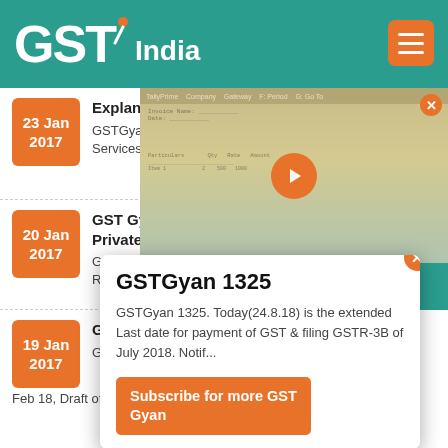GST India
23 Jan 2017 — Explanation 1 to Sec... GSTGyan 1108. In Revis... Explanation 1 to Sec 2(92), Services... Money but do not include Money &
[Figure (screenshot): E-Way Bill Automation video thumbnail with orange play button, teal header bar]
20 Jan 2017 — GST Gyan: Business... Private or No... GSTGyan 1107. assets/services for private o... Supply in Revised GST Mode...
GSTGyan 1325
GSTGyan 1325. Today(24.8.18) is the extended Last date for payment of GST & filing GSTR-3B of July 2018. Notif...
Subscribe for more GST Gyan
19 Jan 2017 — GST Gyan: Dr... expected to b... GSTGyan 1106. Feb 18, Draft of IGST, SGST & CGST expected to be finalised,